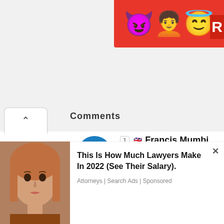[Figure (screenshot): Ad banner with devil, human, and angel emojis on red background with letter R]
Comments (partially visible heading)
[Figure (illustration): Blue circular power-button style avatar icon]
1 🇬🇧 Francis Mumbi Chewe
July 10, 2011 At 6:58 am
Thank you! May God the Creator b the only one 4 us on Earth 2 Glorify & indeed those in Heaven 2 praise Him…
[Figure (illustration): Thumbs up and thumbs down blue icons]
2 🇿🇲 greg   July 10, 2011 At 7:17 am
[Figure (photo): Woman with long reddish-blonde hair, advertisement background]
This Is How Much Lawyers Make In 2022 (See Their Salary).
Attorneys | Search Ads | Sponsored